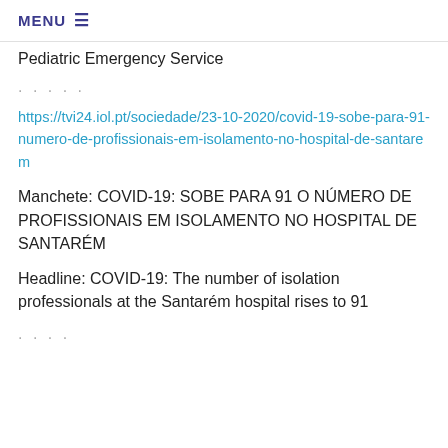MENU ≡
Pediatric Emergency Service
. . . . .
https://tvi24.iol.pt/sociedade/23-10-2020/covid-19-sobe-para-91-numero-de-profissionais-em-isolamento-no-hospital-de-santarem
Manchete: COVID-19: SOBE PARA 91 O NÚMERO DE PROFISSIONAIS EM ISOLAMENTO NO HOSPITAL DE SANTARÉM
Headline: COVID-19: The number of isolation professionals at the Santarém hospital rises to 91
. . . .